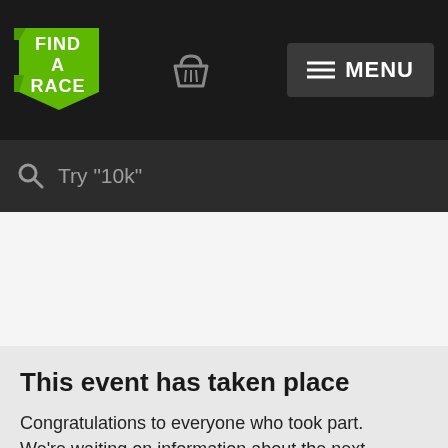[Figure (logo): Find A Race logo — green ribbon banner with white bold text FIND A RACE]
MENU
Try "10k"
This event has taken place
Congratulations to everyone who took part. We're waiting on information about the next